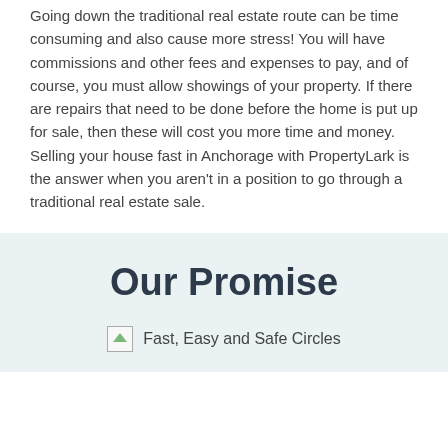Going down the traditional real estate route can be time consuming and also cause more stress! You will have commissions and other fees and expenses to pay, and of course, you must allow showings of your property. If there are repairs that need to be done before the home is put up for sale, then these will cost you more time and money. Selling your house fast in Anchorage with PropertyLark is the answer when you aren't in a position to go through a traditional real estate sale.
Our Promise
[Figure (illustration): Broken/unloaded image placeholder with alt text 'Fast, Easy and Safe Circles']